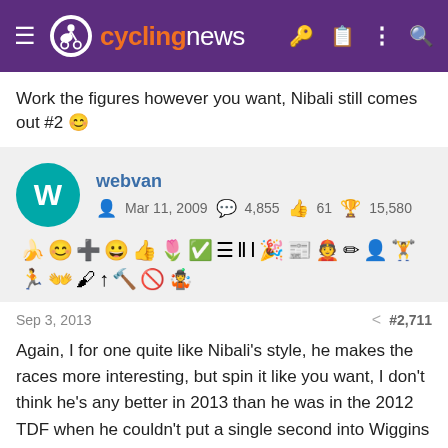cyclingnews
Work the figures however you want, Nibali still comes out #2 😊
webvan
Mar 11, 2009  4,855  61  15,580
Sep 3, 2013  #2,711
Again, I for one quite like Nibali's style, he makes the races more interesting, but spin it like you want, I don't think he's any better in 2013 than he was in the 2012 TDF when he couldn't put a single second into Wiggins (and Froome) in the mountains and got
[Figure (screenshot): WynnBET Sportsbook advertisement banner with BET NOW button]